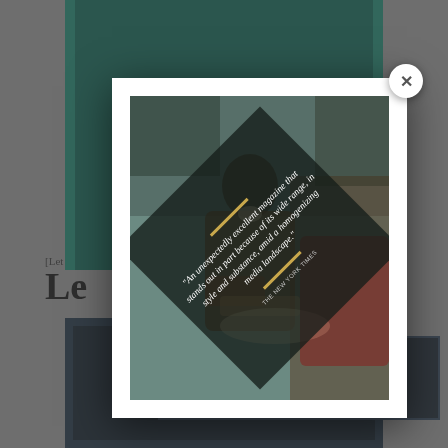[Figure (illustration): Screenshot of a webpage showing a modal/popup dialog overlaid on a dark teal book or magazine page background. The modal contains a promotional quote image with a painting of a scholar/writer in the background, a diamond-shaped dark overlay with a gold bar, italic quote text reading: "An unexpectedly excellent magazine that stands out in part because of its wide range, in style and substance, amid a homogenizing media landscape." attributed to THE NEW YORK TIMES. A white close (X) button appears at the top-right corner of the modal.]
"An unexpectedly excellent magazine that stands out in part because of its wide range, in style and substance, amid a homogenizing media landscape."
THE NEW YORK TIMES